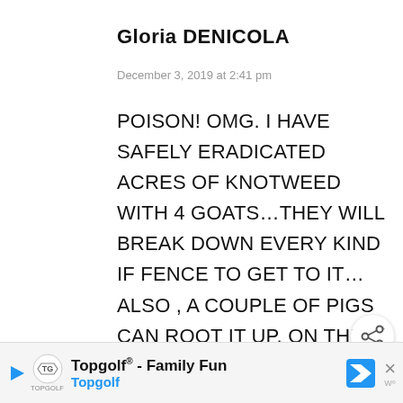Gloria DENICOLA
December 3, 2019 at 2:41 pm
POISON! OMG. I HAVE SAFELY ERADICATED ACRES OF KNOTWEED WITH 4 GOATS…THEY WILL BREAK DOWN EVERY KIND IF FENCE TO GET TO IT…ALSO , A COUPLE OF PIGS CAN ROOT IT UP. ON THE OTHER HAND, THE REASON THEY DO IY IS INSTINCTIVELY THEY ARE AWARE OF
[Figure (other): Share button (circular icon with share symbol)]
[Figure (other): What's Next widget showing thumbnail and text 'How to Plant Garlic in the...']
[Figure (other): Advertisement bar for Topgolf - Family Fun / Topgolf with logo, navigation icon, and close button]